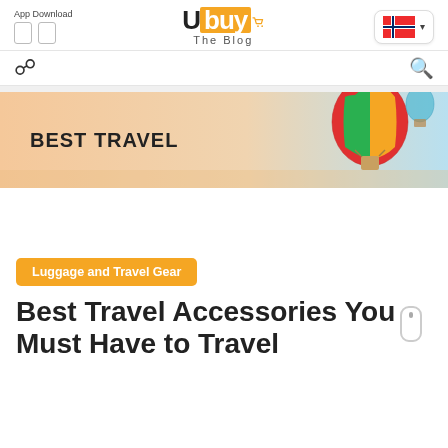App Download
[Figure (logo): Ubuy The Blog logo with orange background on 'buy' portion and shopping cart icon]
[Figure (other): Norwegian flag language selector button with dropdown arrow]
[Figure (other): Navigation bar with hamburger menu icon on left and search icon on right]
[Figure (illustration): Hero banner image showing a hot air balloon against a sunset sky with text BEST TRAVEL]
Luggage and Travel Gear
Best Travel Accessories You Must Have to Travel